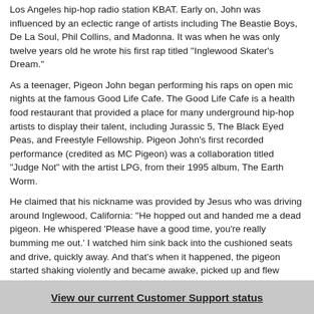Los Angeles hip-hop radio station KBAT. Early on, John was influenced by an eclectic range of artists including The Beastie Boys, De La Soul, Phil Collins, and Madonna. It was when he was only twelve years old he wrote his first rap titled "Inglewood Skater's Dream."
As a teenager, Pigeon John began performing his raps on open mic nights at the famous Good Life Cafe. The Good Life Cafe is a health food restaurant that provided a place for many underground hip-hop artists to display their talent, including Jurassic 5, The Black Eyed Peas, and Freestyle Fellowship. Pigeon John's first recorded performance (credited as MC Pigeon) was a collaboration titled "Judge Not" with the artist LPG, from their 1995 album, The Earth Worm.
He claimed that his nickname was provided by Jesus who was driving around Inglewood, California: "He hopped out and handed me a dead pigeon. He whispered 'Please have a good time, you're really bumming me out.' I watched him sink back into the cushioned seats and drive, quickly away. And that's when it happened, the pigeon started shaking violently and became awake, picked up and flew away. I don't think I had a choice....its was 'pigeon' or die."
In the early 1990s, Pigeon John and his childhood friend B-Twice formed the hip-hop duo Brainwash Projects.[2] Brainwash Projects contributed the single "Muchas Muchachas" to the Christian rap compilation "Sanktifunctafyd" released by N-Soul Records in 1995. Brainwash Projects eventually released a record titled The Rise And Fall Of
View our current Customer Support status